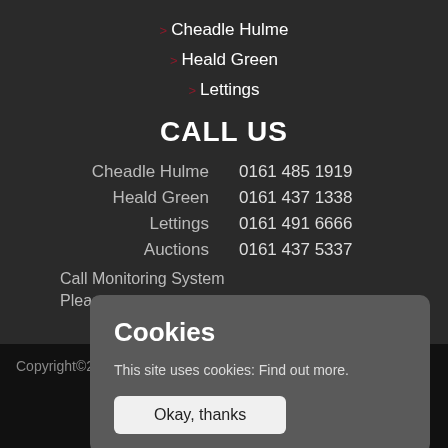> Cheadle Hulme
> Heald Green
> Lettings
CALL US
| Location | Phone |
| --- | --- |
| Cheadle Hulme | 0161 485 1919 |
| Heald Green | 0161 437 1338 |
| Lettings | 0161 491 6666 |
| Auctions | 0161 437 5337 |
Call Monitoring System
Please note
Copyright©201
Cookies
This site uses cookies: Find out more.
Okay, thanks